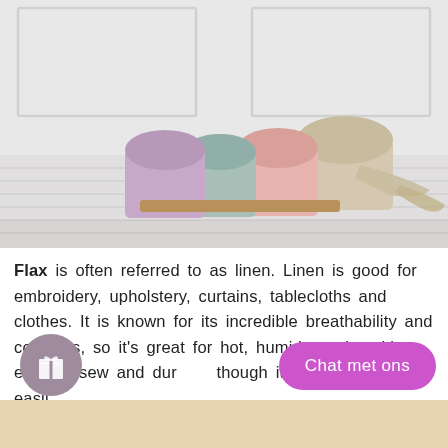[Figure (photo): Rolled fabric bolts in pastel colors (lavender, sage green, blush pink, natural linen/beige) arranged together on a white wooden floor against a white paneled wall background.]
Flax is often referred to as linen. Linen is good for embroidery, upholstery, curtains, tablecloths and clothes. It is known for its incredible breathability and coolness, so it's great for hot, humid weather. It's easy to sew and durable though it increases very easily
Chat met ons